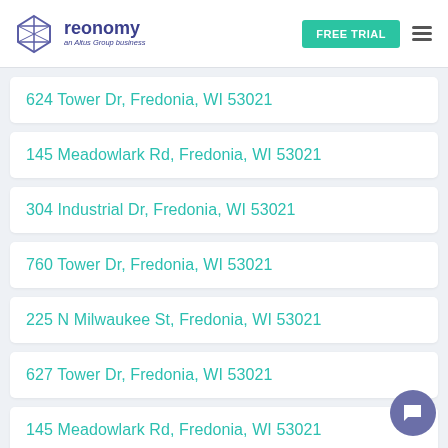[Figure (logo): Reonomy logo — geometric diamond/cube icon in purple outline, followed by 'reonomy' in dark blue bold text and 'an Altus Group business' in italic below]
FREE TRIAL
624 Tower Dr, Fredonia, WI 53021
145 Meadowlark Rd, Fredonia, WI 53021
304 Industrial Dr, Fredonia, WI 53021
760 Tower Dr, Fredonia, WI 53021
225 N Milwaukee St, Fredonia, WI 53021
627 Tower Dr, Fredonia, WI 53021
145 Meadowlark Rd, Fredonia, WI 53021